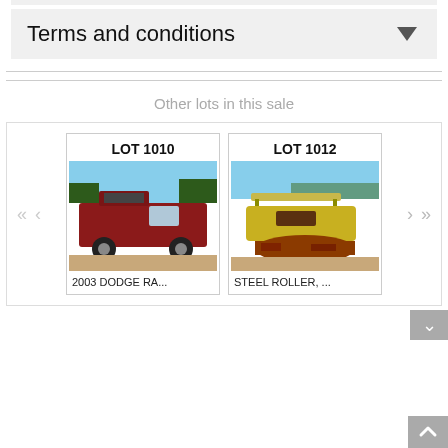Terms and conditions
Other lots in this sale
[Figure (photo): Lot 1010 - 2003 DODGE RA... - photo of a red pickup truck with hood open outdoors]
LOT 1010
2003 DODGE RA...
[Figure (photo): Lot 1012 - STEEL ROLLER, ... - photo of a yellow/rusty steel roller machine outdoors]
LOT 1012
STEEL ROLLER, ...